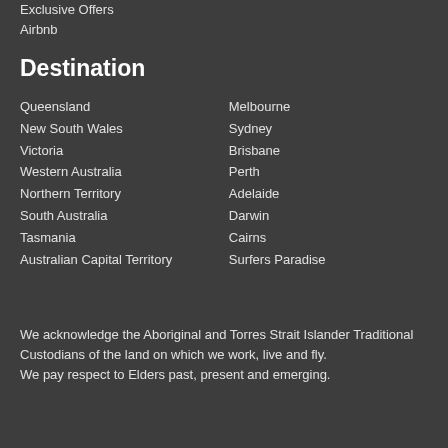Exclusive Offers
Airbnb
Destination
Queensland
New South Wales
Victoria
Western Australia
Northern Territory
South Australia
Tasmania
Australian Capital Territory
Melbourne
Sydney
Brisbane
Perth
Adelaide
Darwin
Cairns
Surfers Paradise
We acknowledge the Aboriginal and Torres Strait Islander Traditional Custodians of the land on which we work, live and fly.
We pay respect to Elders past, present and emerging.